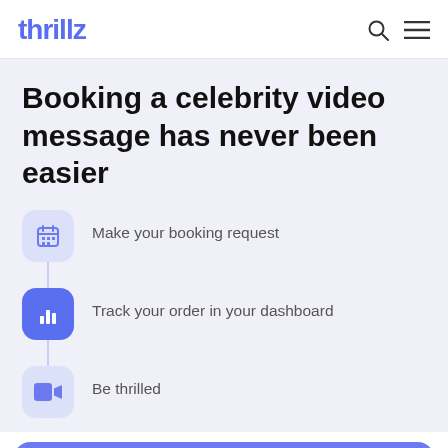thrillz
Booking a celebrity video message has never been easier
Make your booking request
Track your order in your dashboard
Be thrilled
Book Now (£35)